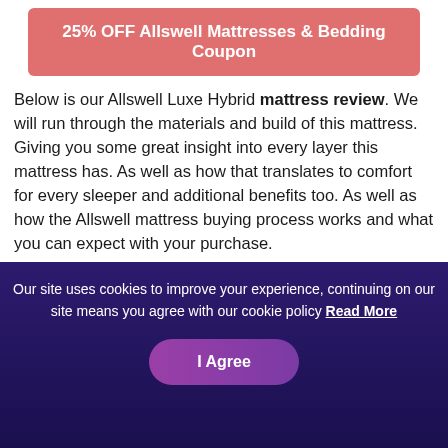25% OFF Allswell Mattresses & Bedding Coupon
Below is our Allswell Luxe Hybrid mattress review. We will run through the materials and build of this mattress. Giving you some great insight into every layer this mattress has. As well as how that translates to comfort for every sleeper and additional benefits too. As well as how the Allswell mattress buying process works and what you can expect with your purchase.
Allswell also offers two other amazing hybrid mattresses. The more premium and slightly softer
Our site uses cookies to improve your experience, continuing on our site means you agree with our cookie policy Read More
I Agree